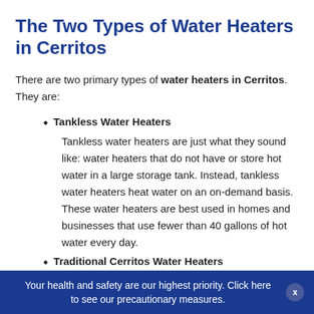The Two Types of Water Heaters in Cerritos
There are two primary types of water heaters in Cerritos. They are:
Tankless Water Heaters
Tankless water heaters are just what they sound like: water heaters that do not have or store hot water in a large storage tank. Instead, tankless water heaters heat water on an on-demand basis. These water heaters are best used in homes and businesses that use fewer than 40 gallons of hot water every day.
Traditional Cerritos Water Heaters
Your health and safety are our highest priority. Click here to see our precautionary measures.